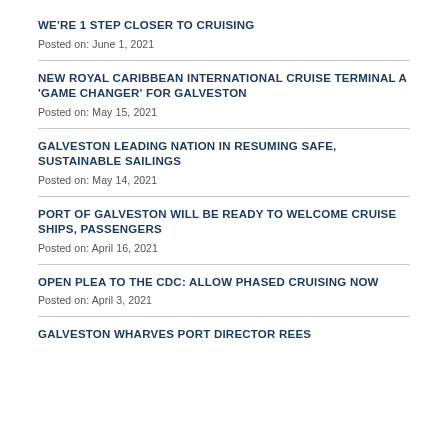WE'RE 1 STEP CLOSER TO CRUISING
Posted on: June 1, 2021
NEW ROYAL CARIBBEAN INTERNATIONAL CRUISE TERMINAL A 'GAME CHANGER' FOR GALVESTON
Posted on: May 15, 2021
GALVESTON LEADING NATION IN RESUMING SAFE, SUSTAINABLE SAILINGS
Posted on: May 14, 2021
PORT OF GALVESTON WILL BE READY TO WELCOME CRUISE SHIPS, PASSENGERS
Posted on: April 16, 2021
OPEN PLEA TO THE CDC: ALLOW PHASED CRUISING NOW
Posted on: April 3, 2021
GALVESTON WHARVES PORT DIRECTOR REES